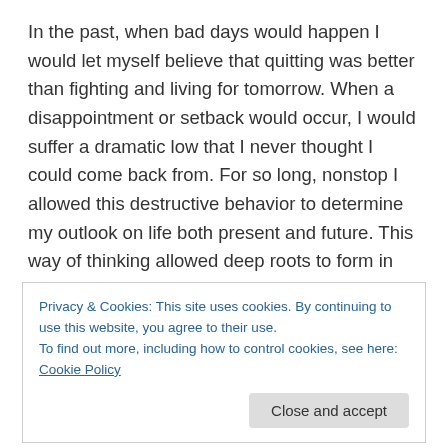In the past, when bad days would happen I would let myself believe that quitting was better than fighting and living for tomorrow. When a disappointment or setback would occur, I would suffer a dramatic low that I never thought I could come back from. For so long, nonstop I allowed this destructive behavior to determine my outlook on life both present and future. This way of thinking allowed deep roots to form in my life that made it almost impossible to see myself as victorious. I would convince myself over and over how tomorrow wouldn't come, opportunities wouldn't happen and I would always be drowning in sorrow. Why was that? Truth is, giving up
Privacy & Cookies: This site uses cookies. By continuing to use this website, you agree to their use.
To find out more, including how to control cookies, see here: Cookie Policy
Close and accept
fears, and worries. I allowed them to overshadow my